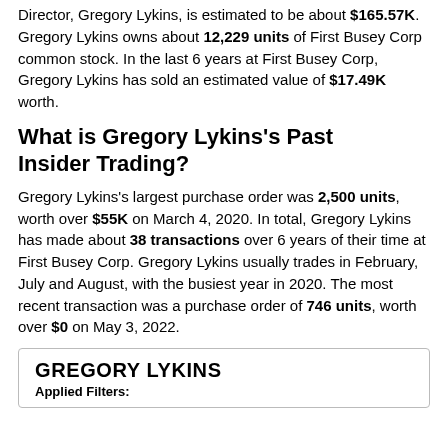Director, Gregory Lykins, is estimated to be about $165.57K. Gregory Lykins owns about 12,229 units of First Busey Corp common stock. In the last 6 years at First Busey Corp, Gregory Lykins has sold an estimated value of $17.49K worth.
What is Gregory Lykins's Past Insider Trading?
Gregory Lykins's largest purchase order was 2,500 units, worth over $55K on March 4, 2020. In total, Gregory Lykins has made about 38 transactions over 6 years of their time at First Busey Corp. Gregory Lykins usually trades in February, July and August, with the busiest year in 2020. The most recent transaction was a purchase order of 746 units, worth over $0 on May 3, 2022.
| GREGORY LYKINS | Applied Filters: |
| --- | --- |